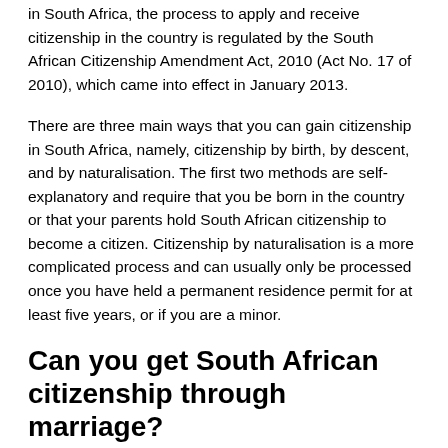in South Africa, the process to apply and receive citizenship in the country is regulated by the South African Citizenship Amendment Act, 2010 (Act No. 17 of 2010), which came into effect in January 2013.
There are three main ways that you can gain citizenship in South Africa, namely, citizenship by birth, by descent, and by naturalisation. The first two methods are self-explanatory and require that you be born in the country or that your parents hold South African citizenship to become a citizen. Citizenship by naturalisation is a more complicated process and can usually only be processed once you have held a permanent residence permit for at least five years, or if you are a minor.
Can you get South African citizenship through marriage?
You can get South African citizenship if you are married to